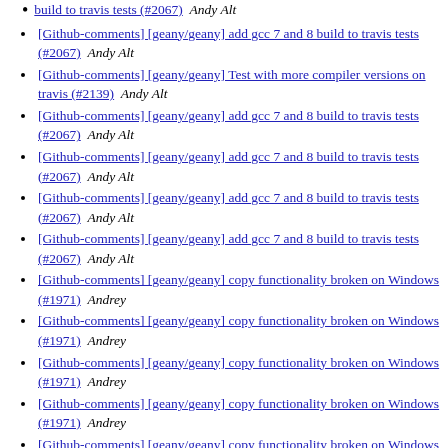build to travis tests (#2067)  Andy Alt
[Github-comments] [geany/geany] add gcc 7 and 8 build to travis tests (#2067)  Andy Alt
[Github-comments] [geany/geany] Test with more compiler versions on travis (#2139)  Andy Alt
[Github-comments] [geany/geany] add gcc 7 and 8 build to travis tests (#2067)  Andy Alt
[Github-comments] [geany/geany] add gcc 7 and 8 build to travis tests (#2067)  Andy Alt
[Github-comments] [geany/geany] add gcc 7 and 8 build to travis tests (#2067)  Andy Alt
[Github-comments] [geany/geany] add gcc 7 and 8 build to travis tests (#2067)  Andy Alt
[Github-comments] [geany/geany] copy functionality broken on Windows (#1971)  Andrey
[Github-comments] [geany/geany] copy functionality broken on Windows (#1971)  Andrey
[Github-comments] [geany/geany] copy functionality broken on Windows (#1971)  Andrey
[Github-comments] [geany/geany] copy functionality broken on Windows (#1971)  Andrey
[Github-comments] [geany/geany] copy functionality broken on Windows (#1971)  Andrey
[Github-comments] [geany/geany] copy functionality broken on Windows (#1971)  Andrey
[Github-comments] [geany/geany] copy functionality broken on Windows (#1971)  Andrey (partial)